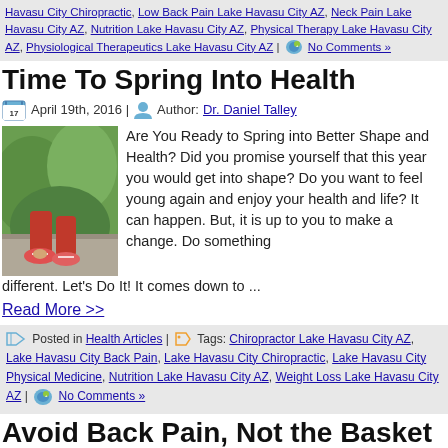Havasu City Chiropractic, Low Back Pain Lake Havasu City AZ, Neck Pain Lake Havasu City AZ, Nutrition Lake Havasu City AZ, Physical Therapy Lake Havasu City AZ, Physiological Therapeutics Lake Havasu City AZ | No Comments »
Time To Spring Into Health
April 19th, 2016 | Author: Dr. Daniel Talley
[Figure (photo): Person tying athletic shoes outdoors, green background]
Are You Ready to Spring into Better Shape and Health? Did you promise yourself that this year you would get into shape? Do you want to feel young again and enjoy your health and life? It can happen. But, it is up to you to make a change. Do something different. Let's Do It! It comes down to ...
Read More >>
Posted in Health Articles | Tags: Chiropractor Lake Havasu City AZ, Lake Havasu City Back Pain, Lake Havasu City Chiropractic, Lake Havasu City Physical Medicine, Nutrition Lake Havasu City AZ, Weight Loss Lake Havasu City AZ | No Comments »
Avoid Back Pain, Not the Basket
November 10th, 2015 | Author: Dr. Daniel Talley